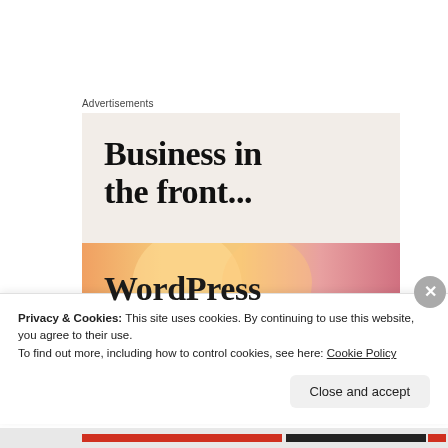Advertisements
[Figure (illustration): WordPress advertisement banner. Top section on light beige background reads 'Business in the front...' in bold serif font. Bottom section has orange-to-pink gradient with large circle decorations and 'WordPress' in bold serif font.]
Privacy & Cookies: This site uses cookies. By continuing to use this website, you agree to their use.
To find out more, including how to control cookies, see here: Cookie Policy
Close and accept